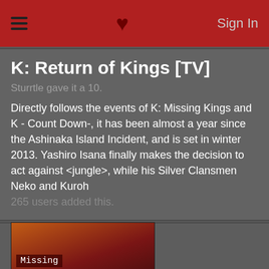≡  ♥  Sign In
K: Return of Kings [TV]
Sturrtle gave it a 10.
Directly follows the events of K: Missing Kings and K - Count Down-, it has been almost a year since the Ashinaka Island Incident, and is set in winter 2013. Yashiro Isana finally makes the decision to act against <jungle>, while his Silver Clansmen Neko and Kuroh
265 users added this.
[Figure (illustration): Anime-style illustration used as thumbnail with 'Missing Picture' overlay text]
Rakudai Kishi no Cavalry [TV]
Sturrtle gave it a 10.